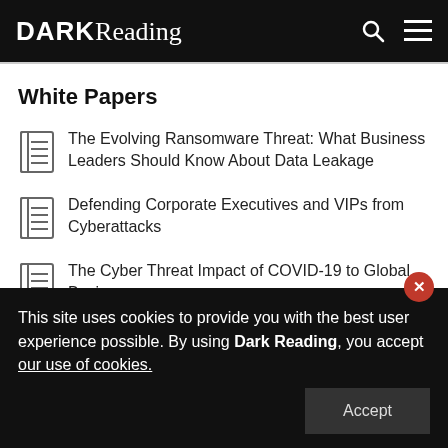DARK Reading
White Papers
The Evolving Ransomware Threat: What Business Leaders Should Know About Data Leakage
Defending Corporate Executives and VIPs from Cyberattacks
The Cyber Threat Impact of COVID-19 to Global Business
Build a Case for a Password Manager
This site uses cookies to provide you with the best user experience possible. By using Dark Reading, you accept our use of cookies.